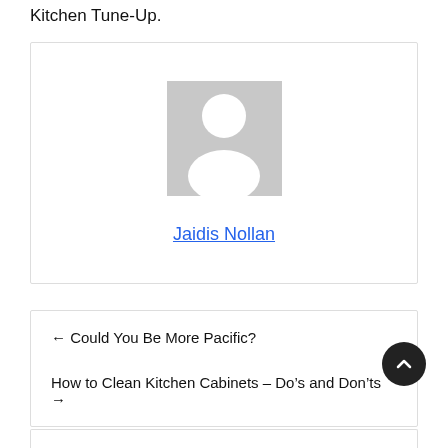Kitchen Tune-Up.
[Figure (illustration): Author profile card with grey placeholder avatar (person silhouette) and name link 'Jaidis Nollan']
← Could You Be More Pacific?
How to Clean Kitchen Cabinets – Do's and Don'ts →